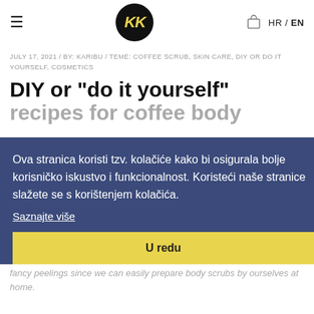HR / EN — Karibu logo navigation header
JULY 17, 2021 / BY: KARIBU / TEME: COFFEE SCRUB, SKIN CARE, DIY OR DO IT YOURSELF, COSMETICS
DIY or "do it yourself" recipes for coffee body
Ova stranica koristi tzv. kolačiće kako bi osigurala bolje korisničko iskustvo i funkcionalnost. Koristeći naše stranice slažete se s korištenjem kolačića.
Saznajte više
U redu
…time when our skin requires an extra care. How to reveal and hydrate the skin after frequent sun expo… there is no need for expensive and fancy peelings since we can easily prepare body scrubs by ourselves at home.